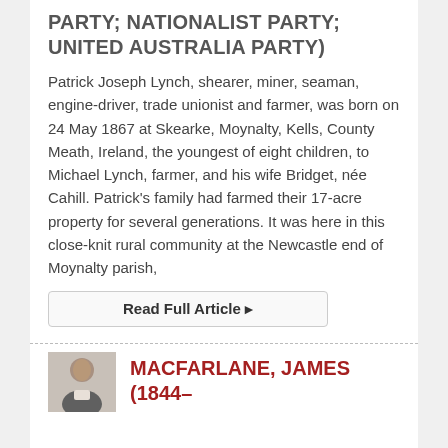PARTY; NATIONALIST PARTY; UNITED AUSTRALIA PARTY)
Patrick Joseph Lynch, shearer, miner, seaman, engine-driver, trade unionist and farmer, was born on 24 May 1867 at Skearke, Moynalty, Kells, County Meath, Ireland, the youngest of eight children, to Michael Lynch, farmer, and his wife Bridget, née Cahill. Patrick's family had farmed their 17-acre property for several generations. It was here in this close-knit rural community at the Newcastle end of Moynalty parish,
Read Full Article ▸
MACFARLANE, JAMES (1844–